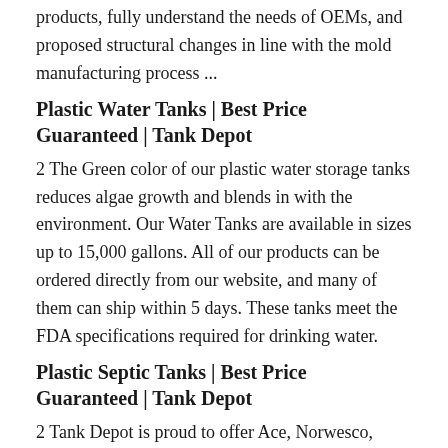products, fully understand the needs of OEMs, and proposed structural changes in line with the mold manufacturing process ...
Plastic Water Tanks | Best Price Guaranteed | Tank Depot
2 The Green color of our plastic water storage tanks reduces algae growth and blends in with the environment. Our Water Tanks are available in sizes up to 15,000 gallons. All of our products can be ordered directly from our website, and many of them can ship within 5 days. These tanks meet the FDA specifications required for drinking water.
Plastic Septic Tanks | Best Price Guaranteed | Tank Depot
2 Tank Depot is proud to offer Ace, Norwesco, Snyder Industries brand Septic Tanks. The world's leading manufacturer of polyethylene tanks, Norwesco has been